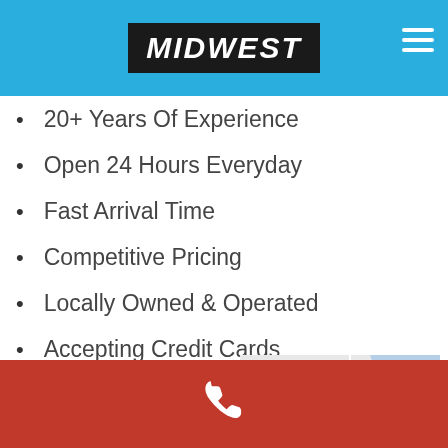MIDWEST
20+ Years Of Experience
Open 24 Hours Everyday
Fast Arrival Time
Competitive Pricing
Locally Owned & Operated
Accepting Credit Cards
Quick and Honest Service
Satisfaction Guaranteed
[Figure (map): Map showing Cohoe region with water bodies and roads]
Phone call button